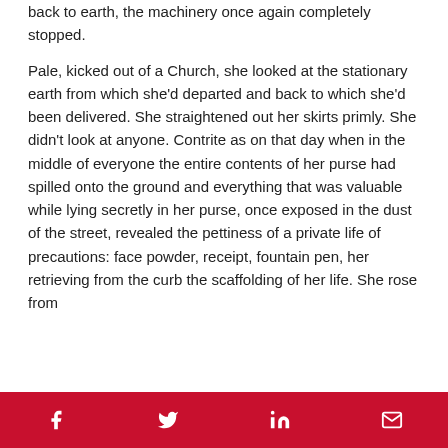back to earth, the machinery once again completely stopped.
Pale, kicked out of a Church, she looked at the stationary earth from which she'd departed and back to which she'd been delivered. She straightened out her skirts primly. She didn't look at anyone. Contrite as on that day when in the middle of everyone the entire contents of her purse had spilled onto the ground and everything that was valuable while lying secretly in her purse, once exposed in the dust of the street, revealed the pettiness of a private life of precautions: face powder, receipt, fountain pen, her retrieving from the curb the scaffolding of her life. She rose from
Social share icons: Facebook, Twitter, LinkedIn, Email